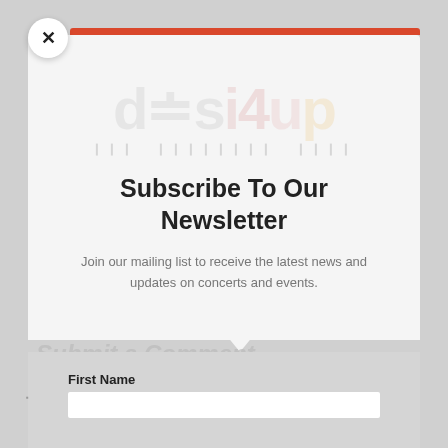[Figure (logo): desiyup watermark logo faded in background of modal]
Subscribe To Our Newsletter
Join our mailing list to receive the latest news and updates on concerts and events.
First Name